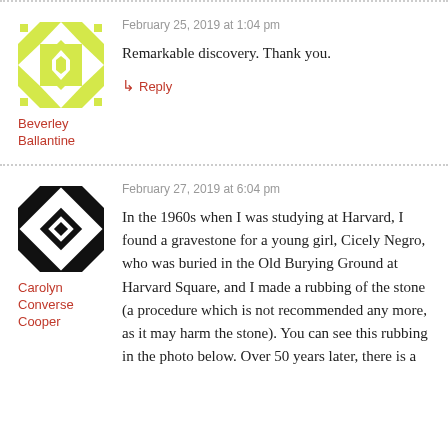[Figure (illustration): Yellow and white geometric quilt-pattern avatar for Beverley Ballantine]
February 25, 2019 at 1:04 pm
Remarkable discovery. Thank you.
Beverley Ballantine
↳ Reply
[Figure (illustration): Black and white geometric quilt-pattern avatar for Carolyn Converse Cooper]
February 27, 2019 at 6:04 pm
Carolyn Converse Cooper
In the 1960s when I was studying at Harvard, I found a gravestone for a young girl, Cicely Negro, who was buried in the Old Burying Ground at Harvard Square, and I made a rubbing of the stone (a procedure which is not recommended any more, as it may harm the stone). You can see this rubbing in the photo below. Over 50 years later, there is a